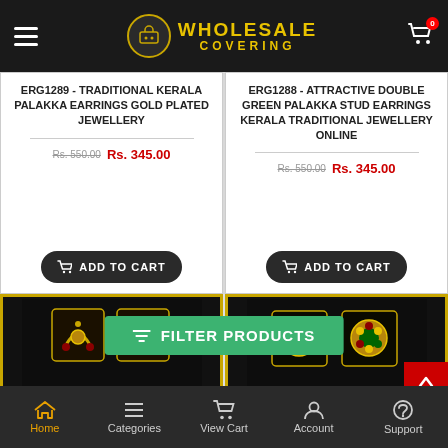Wholesale Covering
ERG1289 - TRADITIONAL KERALA PALAKKA EARRINGS GOLD PLATED JEWELLERY
Rs. 550.00  Rs. 345.00
ERG1288 - ATTRACTIVE DOUBLE GREEN PALAKKA STUD EARRINGS KERALA TRADITIONAL JEWELLERY ONLINE
Rs. 550.00  Rs. 345.00
[Figure (photo): Gold Kerala Palakka earrings displayed on black velvet with gold frame]
[Figure (photo): Double green Palakka stud earrings displayed on black velvet with gold frame]
Home  Categories  View Cart  Account  Support